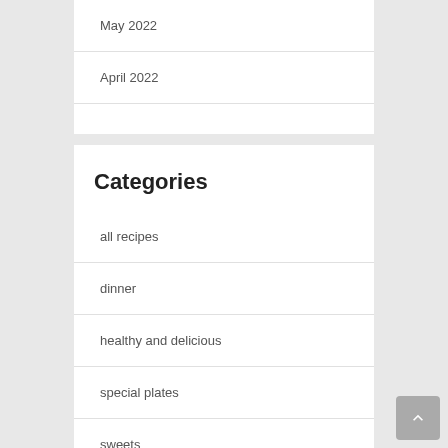May 2022
April 2022
Categories
all recipes
dinner
healthy and delicious
special plates
sweets